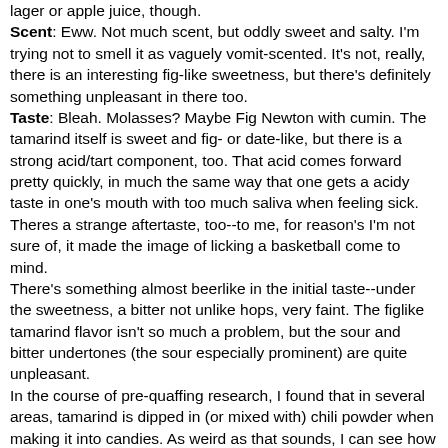lager or apple juice, though.
Scent: Eww. Not much scent, but oddly sweet and salty. I'm trying not to smell it as vaguely vomit-scented. It's not, really, there is an interesting fig-like sweetness, but there's definitely something unpleasant in there too.
Taste: Bleah. Molasses? Maybe Fig Newton with cumin. The tamarind itself is sweet and fig- or date-like, but there is a strong acid/tart component, too. That acid comes forward pretty quickly, in much the same way that one gets a acidy taste in one's mouth with too much saliva when feeling sick. Theres a strange aftertaste, too--to me, for reason's I'm not sure of, it made the image of licking a basketball come to mind.
There's something almost beerlike in the initial taste--under the sweetness, a bitter not unlike hops, very faint. The figlike tamarind flavor isn't so much a problem, but the sour and bitter undertones (the sour especially prominent) are quite unpleasant.
In the course of pre-quaffing research, I found that in several areas, tamarind is dipped in (or mixed with) chili powder when making it into candies. As weird as that sounds, I can see how it would be better; it would counteract the musky, [bishy-ish flavors that come with the tamarind. As it is, that...]